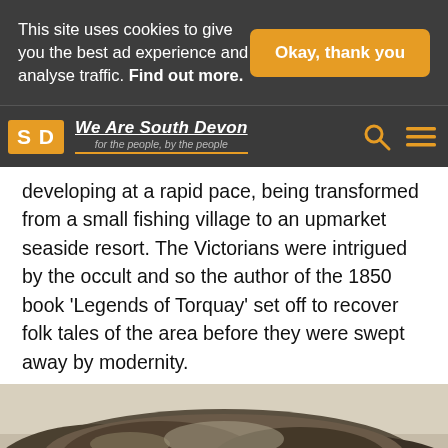This site uses cookies to give you the best ad experience and analyse traffic. Find out more.
Okay, thank you
We Are South Devon — for the people, by the people
developing at a rapid pace, being transformed from a small fishing village to an upmarket seaside resort. The Victorians were intrigued by the occult and so the author of the 1850 book 'Legends of Torquay' set off to recover folk tales of the area before they were swept away by modernity.
[Figure (photo): Historical black and white illustration of a coastal landscape, partially visible. A BitLife advertisement banner overlaid at the bottom reading 'BitLife NOW WITH GOD MODE'.]